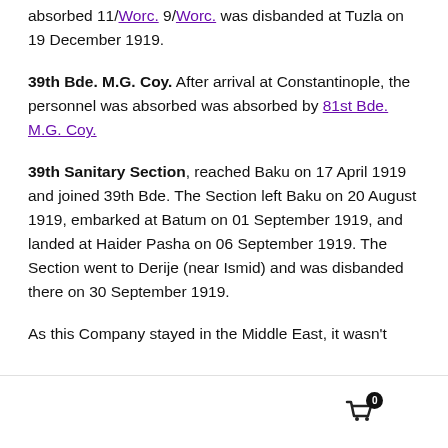absorbed 11/Worc. 9/Worc. was disbanded at Tuzla on 19 December 1919.
39th Bde. M.G. Coy. After arrival at Constantinople, the personnel was absorbed was absorbed by 81st Bde. M.G. Coy.
39th Sanitary Section, reached Baku on 17 April 1919 and joined 39th Bde. The Section left Baku on 20 August 1919, embarked at Batum on 01 September 1919, and landed at Haider Pasha on 06 September 1919. The Section went to Derije (near Ismid) and was disbanded there on 30 September 1919.
As this Company stayed in the Middle East, it wasn't
[navigation icons: user, search, cart]